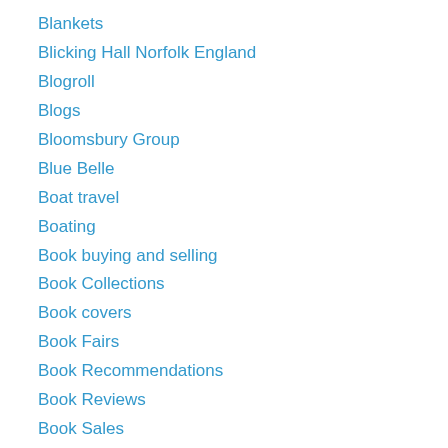Blankets
Blicking Hall Norfolk England
Blogroll
Blogs
Bloomsbury Group
Blue Belle
Boat travel
Boating
Book buying and selling
Book Collections
Book covers
Book Fairs
Book Recommendations
Book Reviews
Book Sales
Book stores
Books
Bop Street Records
Borland Hall Norfolk
Boston Marathon